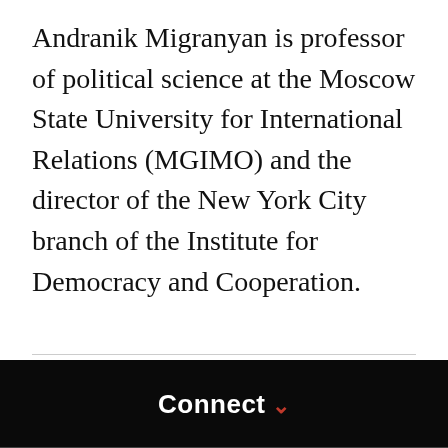Andranik Migranyan is professor of political science at the Moscow State University for International Relations (MGIMO) and the director of the New York City branch of the Institute for Democracy and Cooperation.
Connect